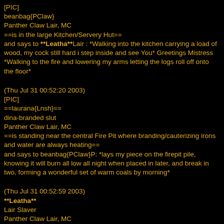[PIC]
beanbag{PClaw}
Panther Claw Lair, MC
==is in the large Kitchen/Servery Hut==
and says to **Leatha**Lair : *Walking into the kitchen carrying a load of wood, my cock still hard i step inside and see You* Greetings Mistress *Walking to the fire and lowering my arms letting the logs roll off onto the floor*
(Thu Jul 31 00:52:20 2003)
[PIC]
==laurana{Lnsh}==
dina-branded slut
Panther Claw Lair, MC
==is standing near the central Fire Pit where branding/cauterizing irons and water are always heating==
and says to beanbag{PClaw}P: *lays my piece on the firepit pile, knowing it will burn all low all night when placed in later, and break in two, forming a wonderful set of warm coals by morning*
(Thu Jul 31 00:52:59 2003)
**Leatha**
Lair Slaver
Panther Claw Lair, MC
==is in the large Kitchen/Servery Hut==
and says to beanbag{PClaw}P: * looks at you with a smirk on my pretty face* greetings, slut..and it must be hard to carry wood in that condition...glad to see me are you?
(Thu Jul 31 00:54:09 2003)
[PIC]